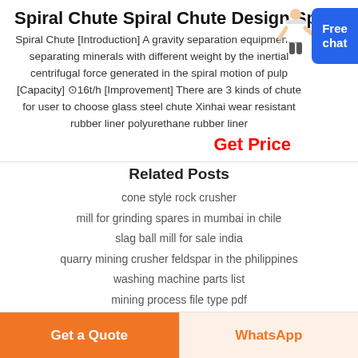Spiral Chute Spiral Chute Design Spiral
Spiral Chute [Introduction] A gravity separation equipment of separating minerals with different weight by the inertial centrifugal force generated in the spiral motion of pulp [Capacity] ⊙16t/h [Improvement] There are 3 kinds of chute for user to choose glass steel chute Xinhai wear resistant rubber liner polyurethane rubber liner
Get Price
Related Posts
cone style rock crusher
mill for grinding spares in mumbai in chile
slag ball mill for sale india
quarry mining crusher feldspar in the philippines
washing machine parts list
mining process file type pdf
Get a Quote
WhatsApp